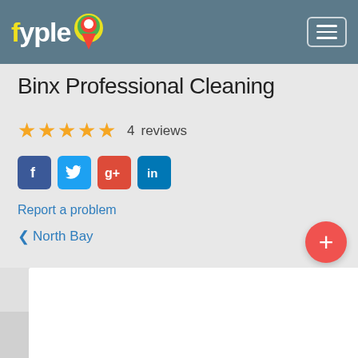fyple [logo with map pin] [hamburger menu]
Binx Professional Cleaning
★★★★★  4  reviews
[Figure (other): Social media icons: Facebook, Twitter, Google+, LinkedIn]
Report a problem
< North Bay